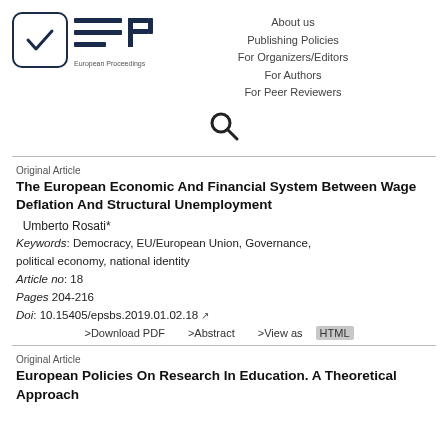[Figure (logo): European Proceedings logo with checkbox icon and EP acronym]
About us
Publishing Policies
For Organizers/Editors
For Authors
For Peer Reviewers
[Figure (illustration): Search icon (magnifying glass)]
Original Article
The European Economic And Financial System Between Wage Deflation And Structural Unemployment
Umberto Rosati*
Keywords: Democracy, EU/European Union, Governance, political economy, national identity
Article no: 18
Pages 204-216
Doi: 10.15405/epsbs.2019.01.02.18
>Download PDF    >Abstract    >View as HTML
Original Article
European Policies On Research In Education. A Theoretical Approach